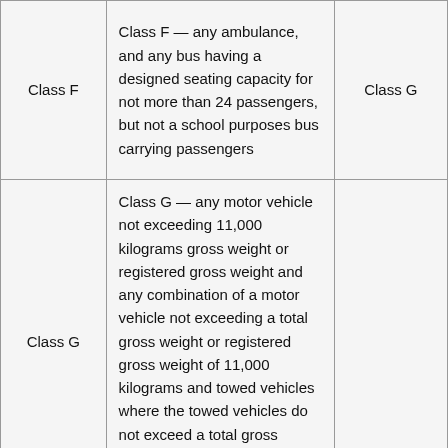| Class F | Class F — any ambulance, and any bus having a designed seating capacity for not more than 24 passengers, but not a school purposes bus carrying passengers | Class G |
| Class G | Class G — any motor vehicle not exceeding 11,000 kilograms gross weight or registered gross weight and any combination of a motor vehicle not exceeding a total gross weight or registered gross weight of 11,000 kilograms and towed vehicles where the towed vehicles do not exceed a total gross weight of 4,600 kilograms, but not, |  |
|  | (a) a motorcycle or motor assisted bicycle; |  |
|  | (b) a bus carrying passengers; |  |